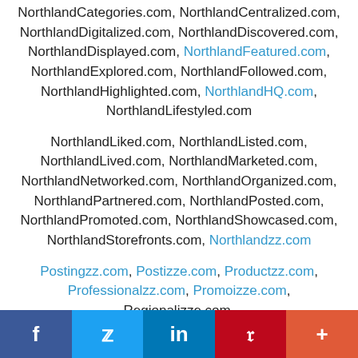NorthlandCategories.com, NorthlandCentralized.com, NorthlandDigitalized.com, NorthlandDiscovered.com, NorthlandDisplayed.com, NorthlandFeatured.com, NorthlandExplored.com, NorthlandFollowed.com, NorthlandHighlighted.com, NorthlandHQ.com, NorthlandLifestyled.com NorthlandLiked.com, NorthlandListed.com, NorthlandLived.com, NorthlandMarketed.com, NorthlandNetworked.com, NorthlandOrganized.com, NorthlandPartnered.com, NorthlandPosted.com, NorthlandPromoted.com, NorthlandShowcased.com, NorthlandStorefronts.com, Northlandzz.com
Postingzz.com, Postizze.com, Productzz.com, Professionalzz.com, Promoizze.com, Regionalizze.com, Regionzz.com, Repairizze.com, Repairzz.com, Restaurantzz.com,
[Figure (infographic): Social media share bar with Facebook, Twitter, LinkedIn, Pinterest, and More buttons]